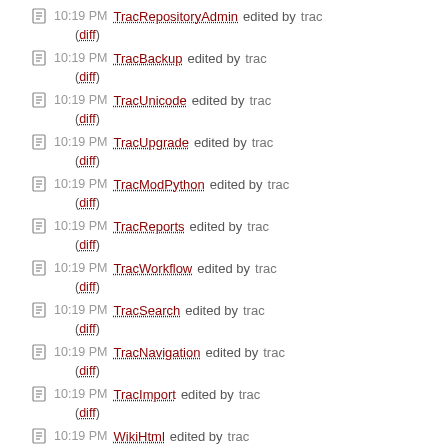10:19 PM TracRepositoryAdmin edited by trac (diff)
10:19 PM TracBackup edited by trac (diff)
10:19 PM TracUnicode edited by trac (diff)
10:19 PM TracUpgrade edited by trac (diff)
10:19 PM TracModPython edited by trac (diff)
10:19 PM TracReports edited by trac (diff)
10:19 PM TracWorkflow edited by trac (diff)
10:19 PM TracSearch edited by trac (diff)
10:19 PM TracNavigation edited by trac (diff)
10:19 PM TracImport edited by trac (diff)
10:19 PM WikiHtml edited by trac (diff)